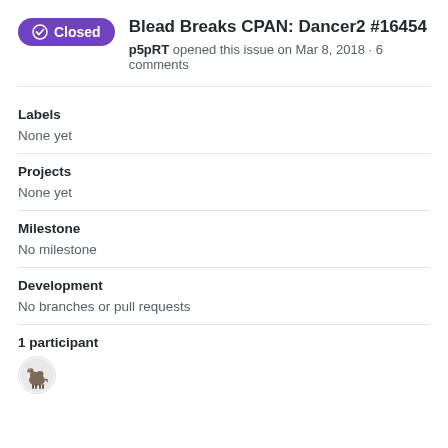Blead Breaks CPAN: Dancer2 #16454
p5pRT opened this issue on Mar 8, 2018 · 6 comments
Labels
None yet
Projects
None yet
Milestone
No milestone
Development
No branches or pull requests
1 participant
[Figure (illustration): Avatar of a camel (participant icon)]